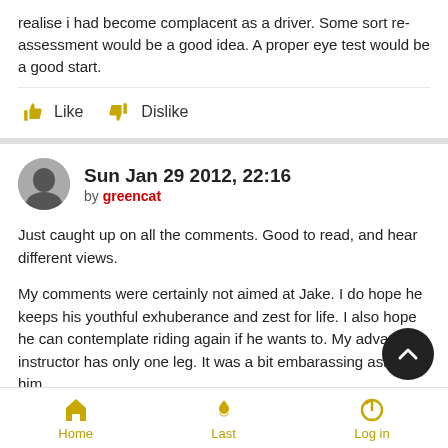realise i had become complacent as a driver. Some sort re-assessment would be a good idea. A proper eye test would be a good start.
Like   Dislike
Sun Jan 29 2012, 22:16
by greencat
Just caught up on all the comments. Good to read, and hear different views.
My comments were certainly not aimed at Jake. I do hope he keeps his youthful exhuberance and zest for life. I also hope he can contemplate riding again if he wants to. My advanced instructor has only one leg. It was a bit embarassing asking him
Home   Last   Log in